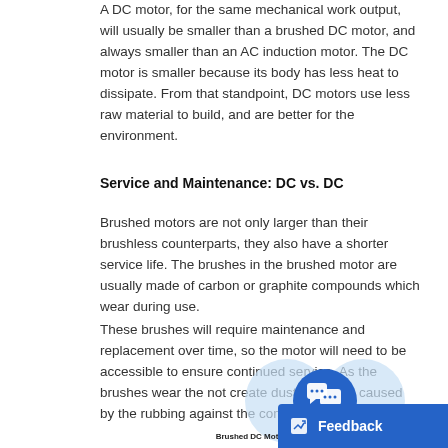A DC motor, for the same mechanical work output, will usually be smaller than a brushed DC motor, and always smaller than an AC induction motor. The DC motor is smaller because its body has less heat to dissipate. From that standpoint, DC motors use less raw material to build, and are better for the environment.
Service and Maintenance: DC vs. DC
Brushed motors are not only larger than their brushless counterparts, they also have a shorter service life. The brushes in the brushed motor are usually made of carbon or graphite compounds which wear during use.
These brushes will require maintenance and replacement over time, so the motor will need to be accessible to ensure continued service. As the brushes wear the not create dust but noise caused by the rubbing against the commutator.
[Figure (infographic): Venn-style diagram with two overlapping circles labeled 'Brushed DC Motor' and 'Brushless DC Motor', with a chat/messaging icon in the center overlap area.]
[Figure (other): Feedback button with pencil/edit icon reading 'Feedback' on a blue background.]